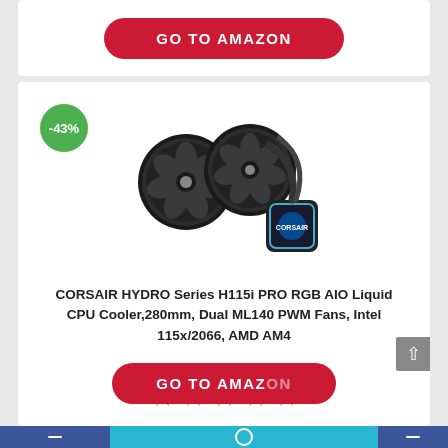[Figure (other): GO TO AMAZON button (red pill-shaped button with white text)]
[Figure (photo): CORSAIR HYDRO Series H115i PRO RGB AIO liquid CPU cooler with dual fans and pump head]
CORSAIR HYDRO Series H115i PRO RGB AIO Liquid CPU Cooler,280mm, Dual ML140 PWM Fans, Intel 115x/2066, AMD AM4
[Figure (other): 5-star rating shown as 5 gold stars]
[Figure (other): GO TO AMAZON button (red pill-shaped button, partially visible at bottom)]